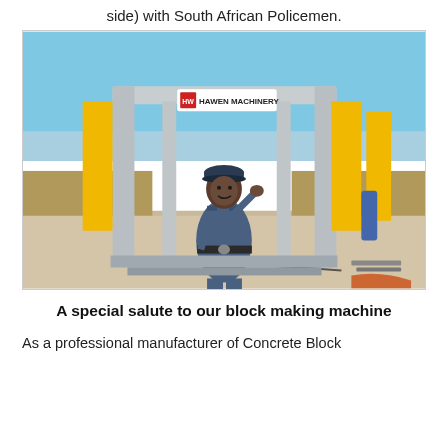side) with South African Policemen.
[Figure (photo): A South African policeman in blue uniform saluting while standing inside a Hawen Machinery block making machine frame at an outdoor construction site.]
A special salute to our block making machine
As a professional manufacturer of Concrete Block